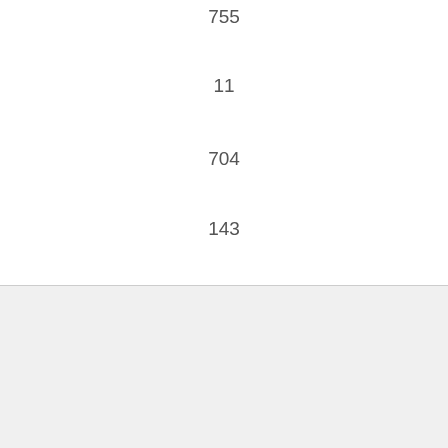755
11
704
143
Asus Zenbook 3 Ux390ua driver download
1/19/2017
13